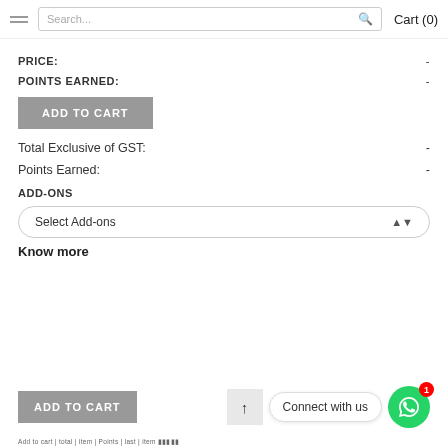Search... Cart (0)
PRICE: -
POINTS EARNED: -
ADD TO CART
Total Exclusive of GST: -
Points Earned: -
ADD-ONS
Select Add-ons
Know more
ADD TO CART
Connect with us
Add to cart | total | item | Points | last | item